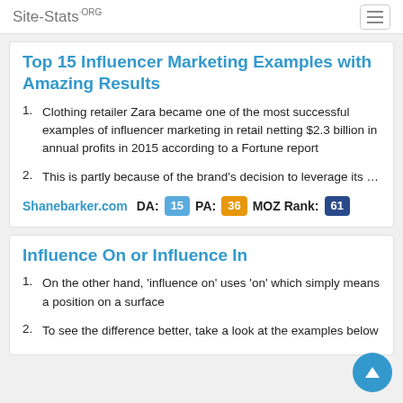Site-Stats.ORG
Top 15 Influencer Marketing Examples with Amazing Results
Clothing retailer Zara became one of the most successful examples of influencer marketing in retail netting $2.3 billion in annual profits in 2015 according to a Fortune report
This is partly because of the brand's decision to leverage its …
Shanebarker.com  DA: 15  PA: 36  MOZ Rank: 61
Influence On or Influence In
On the other hand, 'influence on' uses 'on' which simply means a position on a surface
To see the difference better, take a look at the examples below